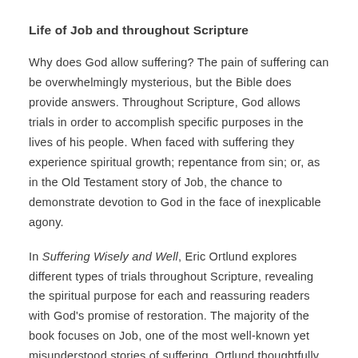Life of Job and throughout Scripture
Why does God allow suffering? The pain of suffering can be overwhelmingly mysterious, but the Bible does provide answers. Throughout Scripture, God allows trials in order to accomplish specific purposes in the lives of his people. When faced with suffering they experience spiritual growth; repentance from sin; or, as in the Old Testament story of Job, the chance to demonstrate devotion to God in the face of inexplicable agony.
In Suffering Wisely and Well, Eric Ortlund explores different types of trials throughout Scripture, revealing the spiritual purpose for each and reassuring readers with God's promise of restoration. The majority of the book focuses on Job, one of the most well-known yet misunderstood stories of suffering. Ortlund thoughtfully analyzes the text chapter by chapter, including the doubt of Job's